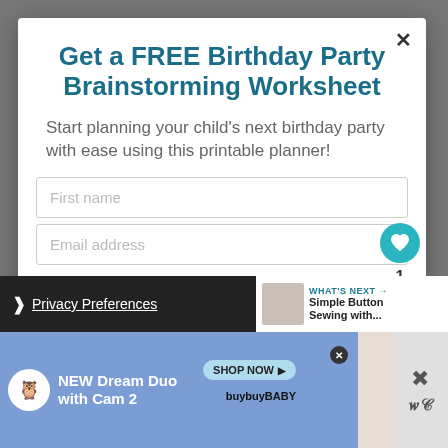Get a FREE Birthday Party Brainstorming Worksheet
Start planning your child's next birthday party with ease using this printable planner!
First name
Email address
Privacy Preferences
WHAT'S NEXT → Simple Button Sewing with...
NEW Dream Duo with Cam 2